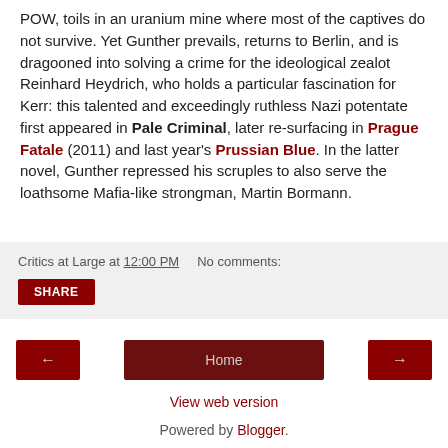POW, toils in an uranium mine where most of the captives do not survive. Yet Gunther prevails, returns to Berlin, and is dragooned into solving a crime for the ideological zealot Reinhard Heydrich, who holds a particular fascination for Kerr: this talented and exceedingly ruthless Nazi potentate first appeared in Pale Criminal, later re-surfacing in Prague Fatale (2011) and last year's Prussian Blue. In the latter novel, Gunther repressed his scruples to also serve the loathsome Mafia-like strongman, Martin Bormann.
Critics at Large at 12:00 PM   No comments:
Share
← Home →
View web version
Powered by Blogger.